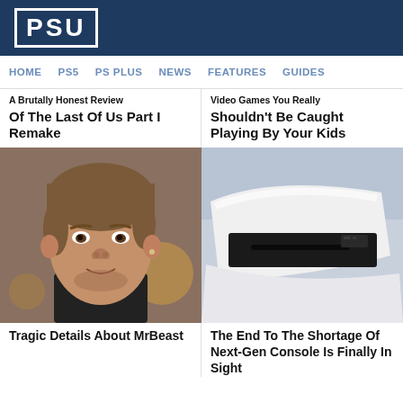PSU
HOME  PS5  PS PLUS  NEWS  FEATURES  GUIDES
A Brutally Honest Review Of The Last Of Us Part I Remake
Video Games You Really Shouldn't Be Caught Playing By Your Kids
[Figure (photo): Close-up photo of MrBeast (young man with brown hair and facial stubble)]
[Figure (photo): Photo of a PS5 console showing its white body and disc drive]
Tragic Details About MrBeast
The End To The Shortage Of Next-Gen Console Is Finally In Sight